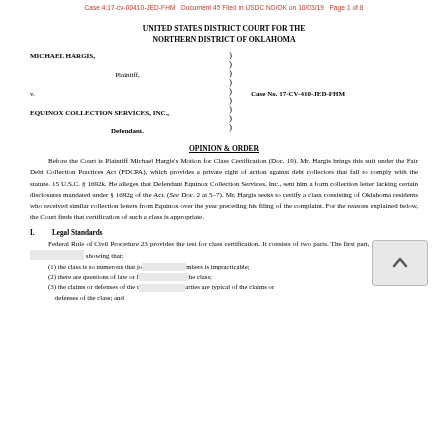Case 4:17-cv-00410-JED-FHM   Document 45 Filed in USDC ND/OK on 10/03/19   Page 1 of 8
UNITED STATES DISTRICT COURT FOR THE NORTHERN DISTRICT OF OKLAHOMA
| MICHAEL HARGIS, | ) |  |
|  | ) |  |
| Plaintiff, | ) |  |
|  | ) | Case No. 17-CV-410-JED-FHM |
| v. | ) |  |
|  | ) |  |
| EQUINOX COLLECTION SERVICES, INC., | ) |  |
|  | ) |  |
| Defendant. | ) |  |
OPINION & ORDER
Before the Court is Plaintiff Michael Hargis’s Motion for Class Certification (Doc. 19). Mr. Hargis brings this suit under the Fair Debt Collection Practices Act (FDCPA), which provides a private right of action against debt collectors that fail to comply with the statute. 15 U.S.C. § 1692k. He alleges that Defendant Equinox Collection Services, Inc., sent him a form collection letter lacking certain disclosures mandated under § 1692g of the Act. (See Doc. 2 at 5–7). Mr. Hargis seeks to certify a class consisting of Oklahoma residents who received similar collection letters from Equinox over the year preceding his filing of the complaint. For the reasons explained below, the Court finds that certification of such a class is appropriate.
I.   Legal Standards
Federal Rule of Civil Procedure 23 provides the test for class certification. It consists of two parts. The first part, Rule 23(a), requ… showing that:
(1) the class is so numerous that jo… mbers is impracticable;
(2) there are questions of law or f… he class;
(3) the claims or defenses of the r… arties are typical of the claims or defenses of the class; and